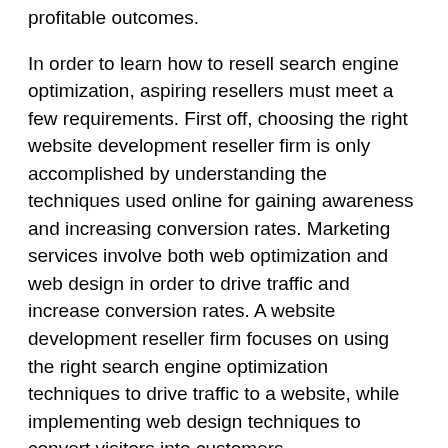profitable outcomes.
In order to learn how to resell search engine optimization, aspiring resellers must meet a few requirements. First off, choosing the right website development reseller firm is only accomplished by understanding the techniques used online for gaining awareness and increasing conversion rates. Marketing services involve both web optimization and web design in order to drive traffic and increase conversion rates. A website development reseller firm focuses on using the right search engine optimization techniques to drive traffic to a website, while implementing web design techniques to convert visitors into customers.